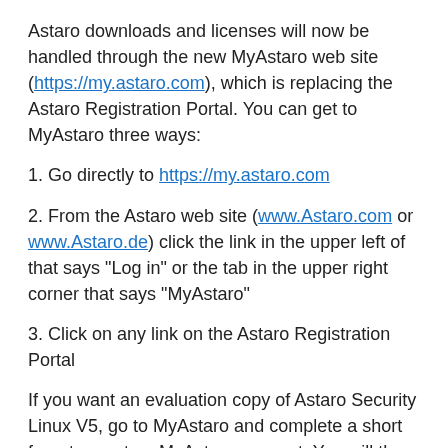Astaro downloads and licenses will now be handled through the new MyAstaro web site (https://my.astaro.com), which is replacing the Astaro Registration Portal. You can get to MyAstaro three ways:
1. Go directly to https://my.astaro.com
2. From the Astaro web site (www.Astaro.com or www.Astaro.de) click the link in the upper left of that says "Log in" or the tab in the upper right corner that says "MyAstaro"
3. Click on any link on the Astaro Registration Portal
If you want an evaluation copy of Astaro Security Linux V5, go to MyAstaro and complete a short form to create a MyAstaro account. You will then be taken to a screen where you can request a V5 evaluation license and then